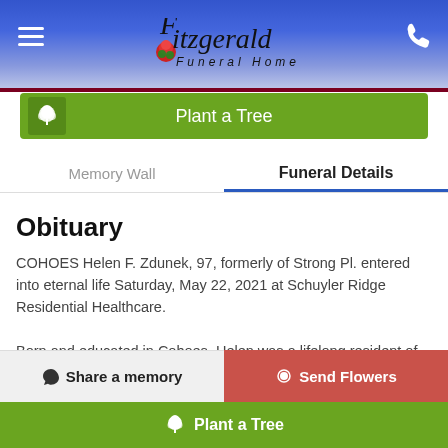Fitzgerald Funeral Home
[Figure (screenshot): Plant a Tree green button with tree icon]
Memory Wall | Funeral Details
Obituary
COHOES Helen F. Zdunek, 97, formerly of Strong Pl. entered into eternal life Saturday, May 22, 2021 at Schuyler Ridge Residential Healthcare.
Born and educated in Cohoes, Helen was a lifelong resident of the city. She was the daughter of the late
Share a memory | Send Flowers
Plant a Tree